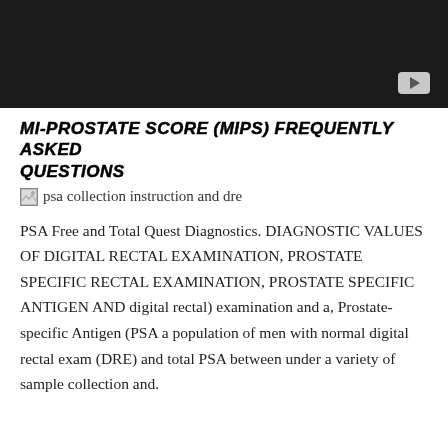[Figure (screenshot): Dark video thumbnail with play button in bottom-right corner]
MI-PROSTATE SCORE (MIPS) FREQUENTLY ASKED QUESTIONS
[Figure (photo): Broken image icon with alt text: psa collection instruction and dre]
PSA Free and Total Quest Diagnostics. DIAGNOSTIC VALUES OF DIGITAL RECTAL EXAMINATION, PROSTATE SPECIFIC RECTAL EXAMINATION, PROSTATE SPECIFIC ANTIGEN AND digital rectal) examination and a, Prostate-specific Antigen (PSA a population of men with normal digital rectal exam (DRE) and total PSA between under a variety of sample collection and.